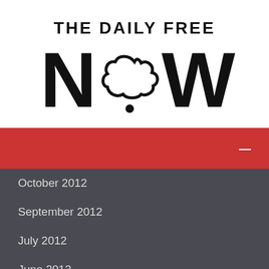[Figure (logo): The Daily Free NOW logo — bold black text 'THE DAILY FREE' above large 'N.W' with a cloud/bubble shape replacing the 'O']
[Figure (other): Red horizontal bar with a white dash/minus symbol on the right side]
October 2012
September 2012
July 2012
June 2012
May 2012
April 2012